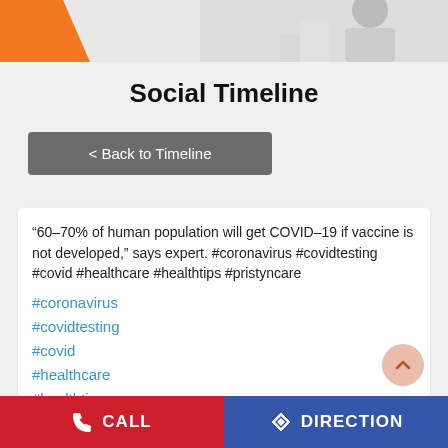[Figure (photo): Top banner image strip with orange triangle/block on left and partial figure silhouette on right, light grey background]
Social Timeline
< Back to Timeline
‘60-70% of human population will get COVID-19 if vaccine is not developed,” says expert. #coronavirus #covidtesting #covid #healthcare #healthtips #pristyncare
#coronavirus
#covidtesting
#covid
#healthcare
#healthtips
CALL   DIRECTION